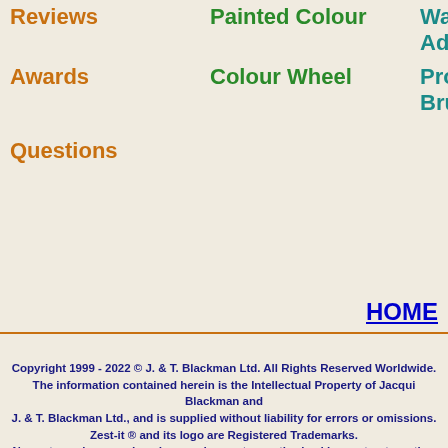Reviews
Painted Colour
Wax Additions
Awards
Colour Wheel
Protective Brush Oil
Questions
HOME
Copyright 1999 - 2022 © J. & T. Blackman Ltd. All Rights Reserved Worldwide.
The information contained herein is the Intellectual Property of Jacqui Blackman and
J. & T. Blackman Ltd., and is supplied without liability for errors or omissions.
Zest-it ® and its logo are Registered Trademarks.
No part may be reproduced or used except as authorized by contract or other